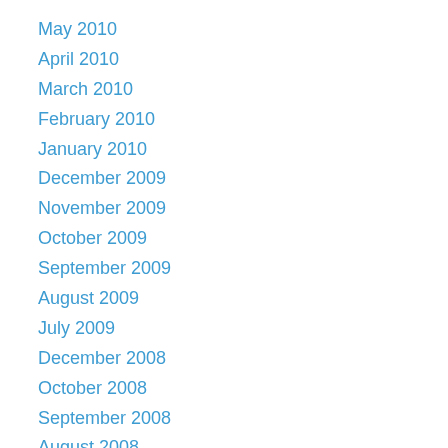May 2010
April 2010
March 2010
February 2010
January 2010
December 2009
November 2009
October 2009
September 2009
August 2009
July 2009
December 2008
October 2008
September 2008
August 2008
July 2008
April 2008
February 2008
November 2007
October 2007